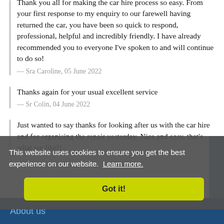Thank you all for making the car hire process so easy. From your first response to my enquiry to our farewell having returned the car, you have been so quick to respond, professional, helpful and incredibly friendly. I have already recommended you to everyone I've spoken to and will continue to do so!
— Sra Caroline, 05 June 2022
Thanks again for your usual excellent service
— Sr Colin, 04 June 2022
Just wanted to say thanks for looking after us with the car hire and for organising the repair yesterday. Nice and easy, that's what we like!!
This website uses cookies to ensure you get the best experience on our website. Learn more.
Got it!
About us